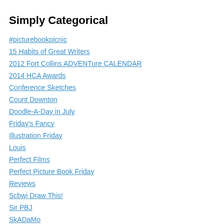Simply Categorical
#picturebookpicnic
15 Habits of Great Writers
2012 Fort Collins ADVENTure CALENDAR
2014 HCA Awards
Conference Sketches
Count Downton
Doodle-A-Day in July
Friday's Fancy
Illustration Friday
Louis
Perfect Films
Perfect Picture Book Friday
Reviews
Scbwi Draw This!
Sir PBJ
SkADaMo
Somedays